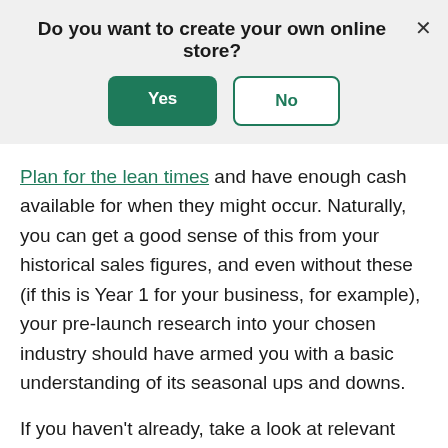[Figure (screenshot): Modal dialog with question 'Do you want to create your own online store?' and Yes/No buttons on a grey background, with an X close button]
Plan for the lean times and have enough cash available for when they might occur. Naturally, you can get a good sense of this from your historical sales figures, and even without these (if this is Year 1 for your business, for example), your pre-launch research into your chosen industry should have armed you with a basic understanding of its seasonal ups and downs.
If you haven't already, take a look at relevant trade magazines and talk to people in the industry to get a sense of the the...